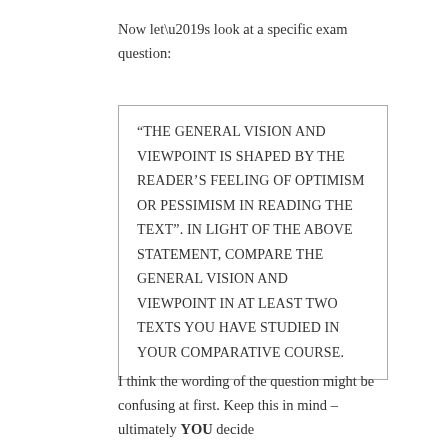Now let’s look at a specific exam question:
“THE GENERAL VISION AND VIEWPOINT IS SHAPED BY THE READER’S FEELING OF OPTIMISM OR PESSIMISM IN READING THE TEXT”. IN LIGHT OF THE ABOVE STATEMENT, COMPARE THE GENERAL VISION AND VIEWPOINT IN AT LEAST TWO TEXTS YOU HAVE STUDIED IN YOUR COMPARATIVE COURSE.
I think the wording of the question might be confusing at first. Keep this in mind – ultimately YOU decide